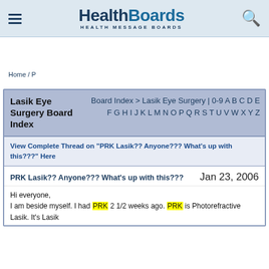HealthBoards HEALTH MESSAGE BOARDS
Home / P
Lasik Eye Surgery Board Index
Board Index > Lasik Eye Surgery | 0-9 A B C D E F G H I J K L M N O P Q R S T U V W X Y Z
View Complete Thread on "PRK Lasik?? Anyone??? What's up with this???" Here
PRK Lasik?? Anyone??? What's up with this???   Jan 23, 2006
Hi everyone,
I am beside myself. I had PRK 2 1/2 weeks ago. PRK is Photorefractive Lasik. It's Lasik